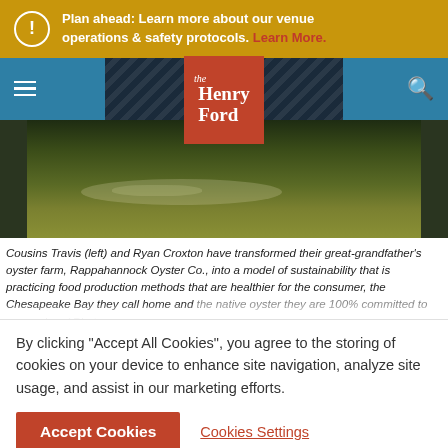Plan ahead: Learn more about our venue operations & safety protocols. Learn More.
[Figure (screenshot): The Henry Ford museum website navigation bar with orange logo and dark chevron pattern background, above a photo of greenish water/oyster farm]
Cousins Travis (left) and Ryan Croxton have transformed their great-grandfather's oyster farm, Rappahannock Oyster Co., into a model of sustainability that is practicing food production methods that are healthier for the consumer, the Chesapeake Bay they call home and the native oyster they are 100% committed to preserving. / Photo
By clicking "Accept All Cookies", you agree to the storing of cookies on your device to enhance site navigation, analyze site usage, and assist in our marketing efforts.
Accept Cookies
Cookies Settings